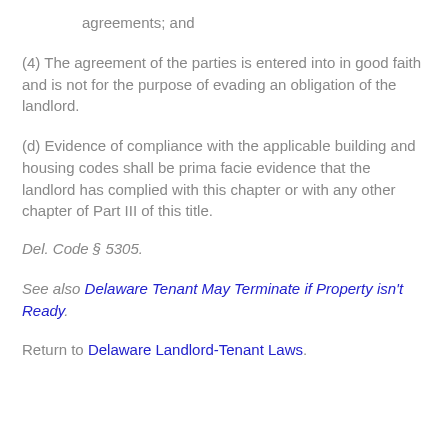agreements; and
(4) The agreement of the parties is entered into in good faith and is not for the purpose of evading an obligation of the landlord.
(d) Evidence of compliance with the applicable building and housing codes shall be prima facie evidence that the landlord has complied with this chapter or with any other chapter of Part III of this title.
Del. Code § 5305.
See also Delaware Tenant May Terminate if Property isn't Ready.
Return to Delaware Landlord-Tenant Laws.